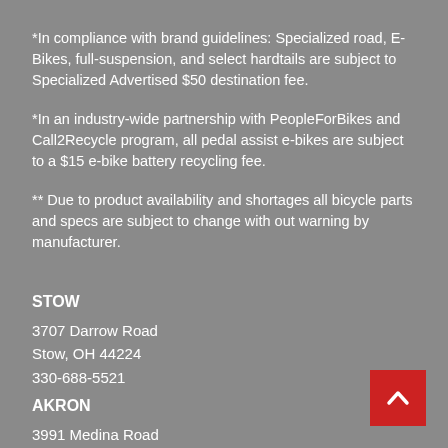*In compliance with brand guidelines: Specialized road, E-Bikes, full-suspension, and select hardtails are subject to Specialized Advertised $50 destination fee.
*In an industry-wide partnership with PeopleForBikes and Call2Recycle program, all pedal assist e-bikes are subject to a $15 e-bike battery recycling fee.
** Due to product availability and shortages all bicycle parts and specs are subject to change with out warning by manufacturer.
STOW
3707 Darrow Road
Stow, OH 44224
330-688-5521
AKRON
3991 Medina Road